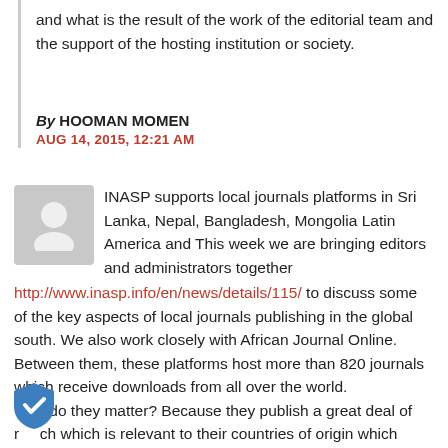and what is the result of the work of the editorial team and the support of the hosting institution or society.
By HOOMAN MOMEN
AUG 14, 2015, 12:21 AM
INASP supports local journals platforms in Sri Lanka, Nepal, Bangladesh, Mongolia Latin America and This week we are bringing editors and administrators together http://www.inasp.info/en/news/details/115/ to discuss some of the key aspects of local journals publishing in the global south. We also work closely with African Journal Online. Between them, these platforms host more than 820 journals which receive downloads from all over the world. Why do they matter? Because they publish a great deal of research which is relevant to their countries of origin which would struggle to find a place in northern journals. Think fisheries management in Bangladesh or farmers' responses to